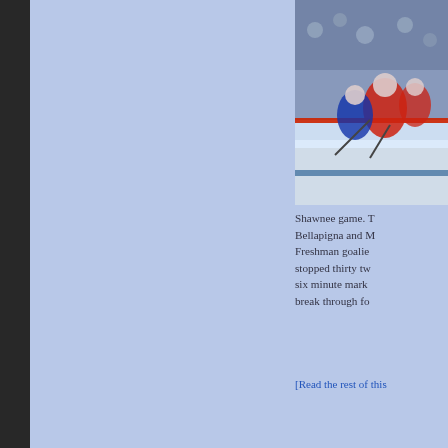[Figure (photo): Hockey players at the boards/rink, top right corner of page]
Shawnee game. Bellapigna and M... Freshman goalie stopped thirty tw... six minute mark break through fo...
[Read the rest of this...
[Figure (other): Calendar icon showing JAN 27 with article title starting 'Franken...' and text 'game’s MVP']
[Figure (photo): Hockey game photo at bottom right, players on ice near boards with Toyota signage]